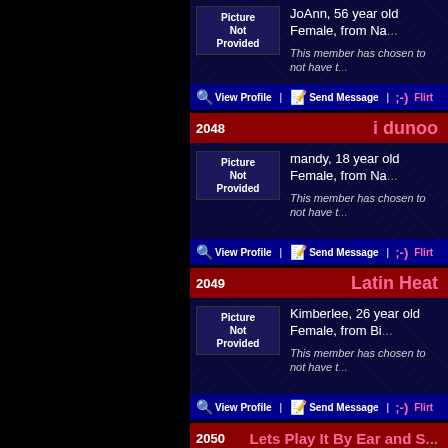Picture Not Provided
JoAnn, 56 year old Female, from Na...
This member has chosen to not have t...
View Profile | Send Message | ;-) Flirt
2048  i dunoo
Picture Not Provided
mandy, 18 year old Female, from Na...
This member has chosen to not have t...
View Profile | Send Message | ;-) Flirt
2049  Latin Heat
Picture Not Provided
Kimberlee, 26 year old Female, from Bi...
This member has chosen to not have t...
View Profile | Send Message | ;-) Flirt
2050  Lets Play It By Ear and S...